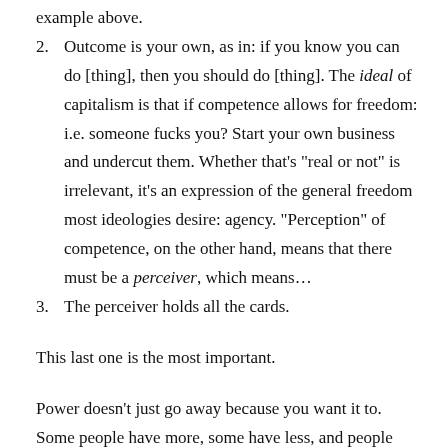example above.
2. Outcome is your own, as in: if you know you can do [thing], then you should do [thing]. The ideal of capitalism is that if competence allows for freedom: i.e. someone fucks you? Start your own business and undercut them. Whether that’s “real or not” is irrelevant, it’s an expression of the general freedom most ideologies desire: agency. “Perception” of competence, on the other hand, means that there must be a perceiver, which means…
3. The perceiver holds all the cards.
This last one is the most important.
Power doesn’t just go away because you want it to. Some people have more, some have less, and people with more are going to have more powerful perception